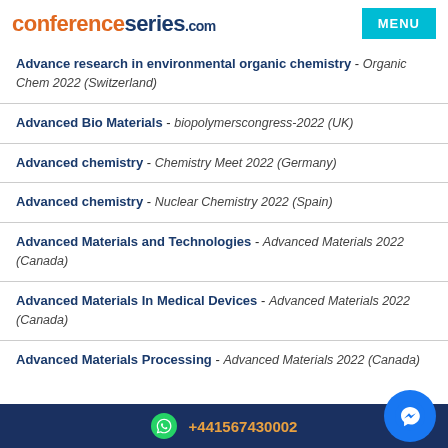conferenceseries.com
Advance research in environmental organic chemistry - Organic Chem 2022 (Switzerland)
Advanced Bio Materials - biopolymerscongress-2022 (UK)
Advanced chemistry - Chemistry Meet 2022 (Germany)
Advanced chemistry - Nuclear Chemistry 2022 (Spain)
Advanced Materials and Technologies - Advanced Materials 2022 (Canada)
Advanced Materials In Medical Devices - Advanced Materials 2022 (Canada)
Advanced Materials Processing - Advanced Materials 2022 (Canada)
+441567430002